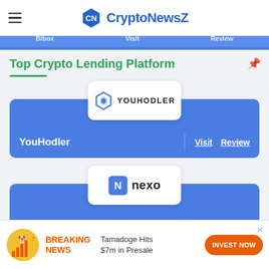CryptoNewsZ
Bibox   Visit   Review
Top Crypto Lending Platform
[Figure (logo): YouHodler logo with cube icon and YOUHODLER text]
YouHodler   Visit   Review
[Figure (logo): Nexo logo with blue N icon and nexo wordmark]
Nexo   Visit   Review
[Figure (infographic): Advertisement banner: BREAKING NEWS - Tamadoge Hits $7m in Presale - INVEST NOW button with Shiba Inu coin graphic]